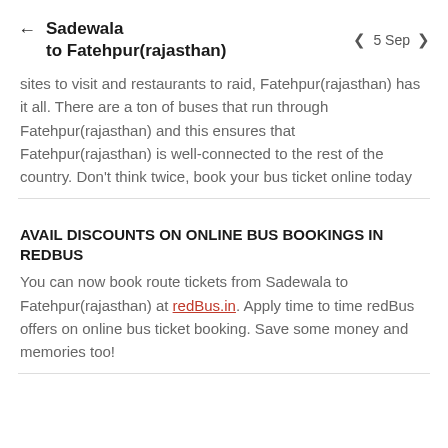Sadewala to Fatehpur(rajasthan) — 5 Sep
sites to visit and restaurants to raid, Fatehpur(rajasthan) has it all. There are a ton of buses that run through Fatehpur(rajasthan) and this ensures that Fatehpur(rajasthan) is well-connected to the rest of the country. Don't think twice, book your bus ticket online today
AVAIL DISCOUNTS ON ONLINE BUS BOOKINGS IN REDBUS
You can now book route tickets from Sadewala to Fatehpur(rajasthan) at redBus.in. Apply time to time redBus offers on online bus ticket booking. Save some money and memories too!